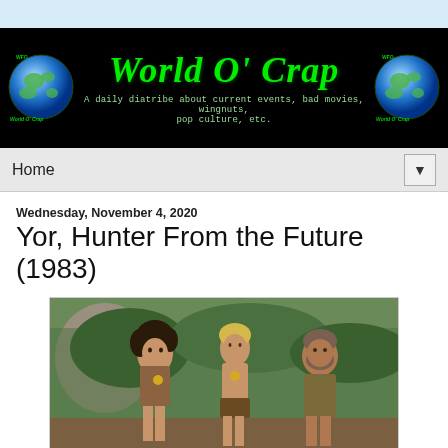World O' Crap — A daily diatribe about current events, bad movies, wingnuts, pop culture, etc.
Home
Wednesday, November 4, 2020
Yor, Hunter From the Future (1983)
[Figure (photo): Movie still from Yor, Hunter From the Future (1983) showing three characters in primitive/prehistoric costumes standing outdoors in a rocky, vegetated landscape. A woman with dark curly hair and a man with blonde hair wearing loincloths, and an older bearded man behind them.]